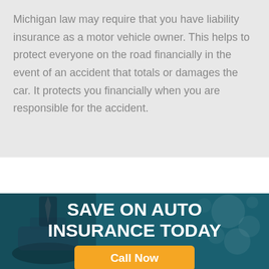Michigan law may require that you have liability insurance as a motor vehicle owner. This helps to protect everyone on the road financially in the event of an accident that totals or damages the car. It protects you financially when you are responsible for the accident.
[Figure (infographic): Dark teal banner with bokeh background and person silhouette, containing bold white text 'SAVE ON AUTO INSURANCE TODAY' and an orange 'Call Now' button]